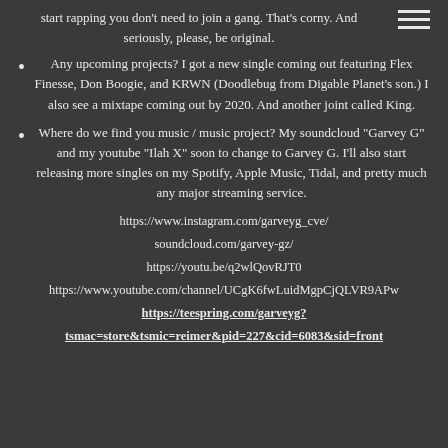start rapping you don't need to join a gang. That's corny. And seriously, please, be original.
Any upcoming projects? I got a new single coming out featuring Flex Finesse, Don Boogie, and KRWN (Doodlebug from Digable Planet's son.) I also see a mixtape coming out by 2020. And another joint called King.
Where do we find you music / music project? My soundcloud "Garvey G" and my youtube "Ilah X" soon to change to Garvey G. I'll also start releasing more singles on my Spotify, Apple Music, Tidal, and pretty much any major streaming service.
https://www.instagram.com/garveyg_cve/
soundcloud.com/garvey-gz/
https://youtu.be/q2wlQovRJT0
https://www.youtube.com/channel/UCgK6fwLuidMgpCjQLVR9APw
https://teespring.com/garveyg?tsmac=store&tsmic=reimer&pid=227&cid=6083&sid=front